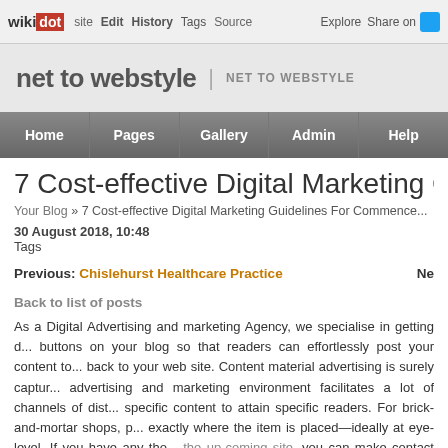wikidot | Edit | History | Tags | Source | Explore | Share on [Twitter]
net to webstyle | NET TO WEBSTYLE
Home | Pages | Gallery | Admin | Help
7 Cost-effective Digital Marketing Guideli...
Your Blog » 7 Cost-effective Digital Marketing Guidelines For Commence...
30 August 2018, 10:48
Tags
Previous: Chislehurst Healthcare Practice    Ne...
Back to list of posts
As a Digital Advertising and marketing Agency, we specialise in getting d... buttons on your blog so that readers can effortlessly post your content to... back to your web site. Content material advertising is surely captur... advertising and marketing environment facilitates a lot of channels of dist... specific content to attain specific readers. For brick-and-mortar shops, p... exactly where the item is placed—ideally at eye-level. If you have any tho... the up-coming site. you can make contact with us at our internet site f...